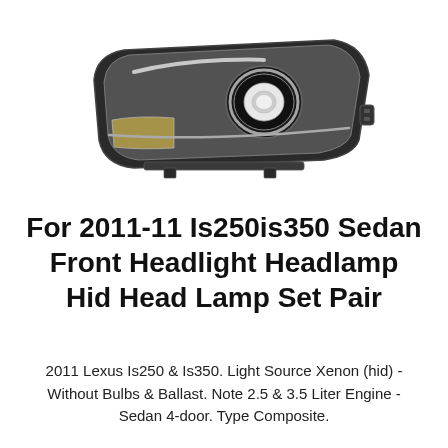[Figure (photo): A Lexus IS250/IS350 front headlight/headlamp assembly with HID projector, dark housing, viewed from a slight angle showing the full unit.]
For 2011-11 Is250is350 Sedan Front Headlight Headlamp Hid Head Lamp Set Pair
2011 Lexus Is250 & Is350. Light Source Xenon (hid) - Without Bulbs & Ballast. Note 2.5 & 3.5 Liter Engine - Sedan 4-door. Type Composite.